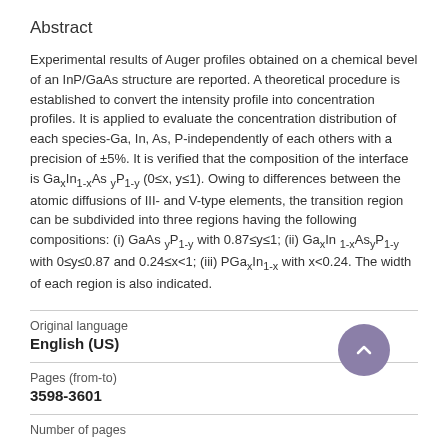Abstract
Experimental results of Auger profiles obtained on a chemical bevel of an InP/GaAs structure are reported. A theoretical procedure is established to convert the intensity profile into concentration profiles. It is applied to evaluate the concentration distribution of each species-Ga, In, As, P-independently of each others with a precision of ±5%. It is verified that the composition of the interface is GaxIn1-xAs yP1-y (0≤x, y≤1). Owing to differences between the atomic diffusions of III- and V-type elements, the transition region can be subdivided into three regions having the following compositions: (i) GaAs yP1-y with 0.87≤y≤1; (ii) GaxIn 1-xAsyP1-y with 0≤y≤0.87 and 0.24≤x<1; (iii) PGaxIn1-x with x<0.24. The width of each region is also indicated.
Original language
English (US)
Pages (from-to)
3598-3601
Number of pages